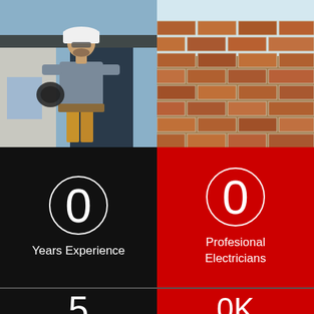[Figure (photo): Electrician in white hard hat and safety glasses holding a coil of black cable, standing outside a building with tool belt]
[Figure (photo): Close-up of a red and brown brick wall exterior]
0
Years Experience
0
Profesional Electricians
5
0K